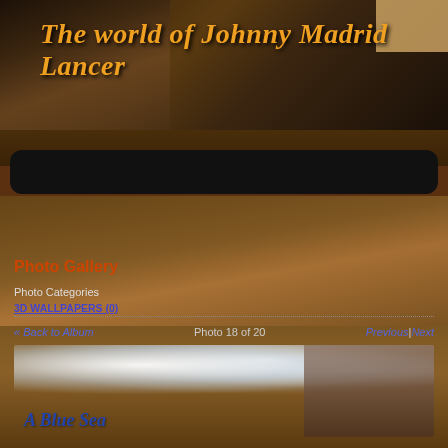The world of Johnny Madrid Lancer
[Figure (screenshot): Website screenshot of 'The world of Johnny Madrid Lancer' fan page showing photo gallery navigation with '3D WALLPAPERS (0)' link, 'Photo 18 of 20' counter, Previous|Next navigation, and a bottom image titled 'A Blue Sea']
Photo Gallery
Photo Categories
3D WALLPAPERS (0)
« Back to Album
Photo 18 of 20
Previous | Next
A Blue Sea